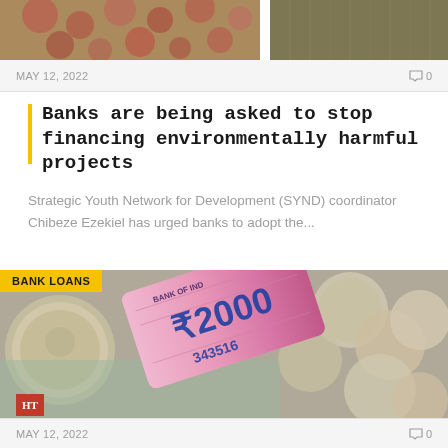[Figure (photo): Top cropped image showing colorful floral/textile patterns split into two panels]
MAY 12, 2022
0
Banks are being asked to stop financing environmentally harmful projects
Strategic Youth Network for Development (SYND) coordinator Chibeze Ezekiel has urged banks to adopt the...
[Figure (photo): Photo of rolled Indian 2000 rupee banknote with coins in background, tagged BANK LOANS]
MAY 12, 2022
0